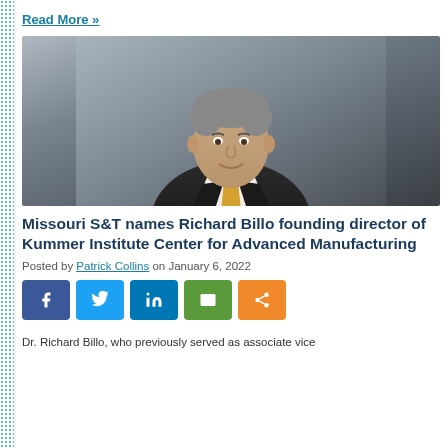Read More »
[Figure (photo): Professional headshot of Dr. Richard Billo, a middle-aged man in a dark suit with a gold/yellow tie, smiling, against a grey background.]
Missouri S&T names Richard Billo founding director of Kummer Institute Center for Advanced Manufacturing
Posted by Patrick Collins on January 6, 2022
[Figure (other): Social sharing buttons: Facebook (blue), Twitter (light blue), LinkedIn (dark blue), Email (green), Share (orange)]
Dr. Richard Billo, who previously served as associate vice